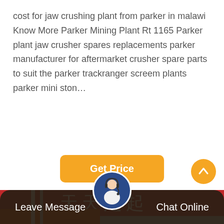cost for jaw crushing plant from parker in malawi Know More Parker Mining Plant Rt 1165 Parker plant jaw crusher spares replacements parker manufacturer for aftermarket crusher spare parts to suit the parker trackranger screem plants parker mini ston…
[Figure (other): Button labeled 'Get Price' with orange/yellow background and rounded corners]
[Figure (photo): Photo of an orange industrial jaw crusher machine with large flywheels, Chinese text banner visible in background]
[Figure (other): Bottom navigation bar with 'Leave Message' on left, customer service avatar in center, 'Chat Online' on right, dark brown background. Orange scroll-to-top button on right side.]